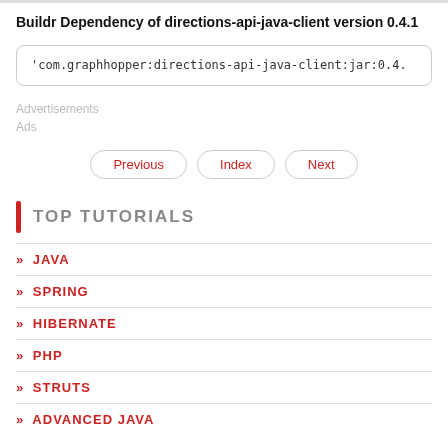Buildr Dependency of directions-api-java-client version 0.4.1
'com.graphhopper:directions-api-java-client:jar:0.4.
Advertisements
Ads
Previous   Index   Next
TOP TUTORIALS
» JAVA
» SPRING
» HIBERNATE
» PHP
» STRUTS
» ADVANCED JAVA